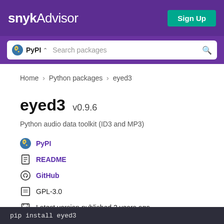snyk Advisor — Sign Up
[Figure (screenshot): Snyk Advisor header with PyPI search bar]
Home > Python packages > eyed3
eyed3 v0.9.6
Python audio data toolkit (ID3 and MP3)
PyPI
README
GitHub
GPL-3.0
Latest version published 2 years ago
pip install eyed3